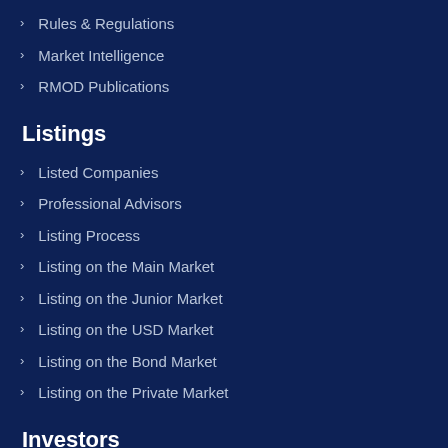Rules & Regulations
Market Intelligence
RMOD Publications
Listings
Listed Companies
Professional Advisors
Listing Process
Listing on the Main Market
Listing on the Junior Market
Listing on the USD Market
Listing on the Bond Market
Listing on the Private Market
Investors
New to the Stock Market?
Forms